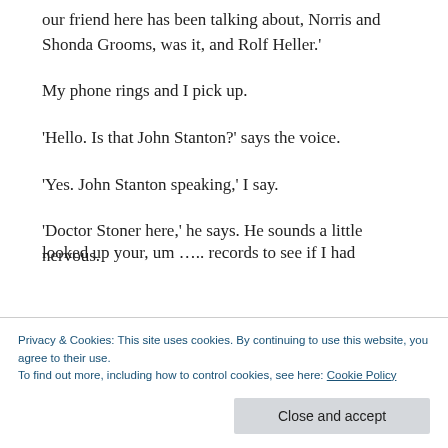our friend here has been talking about, Norris and Shonda Grooms, was it, and Rolf Heller.'
My phone rings and I pick up.
'Hello. Is that John Stanton?' says the voice.
'Yes. John Stanton speaking,' I say.
'Doctor Stoner here,' he says. He sounds a little nervous.
Privacy & Cookies: This site uses cookies. By continuing to use this website, you agree to their use.
To find out more, including how to control cookies, see here: Cookie Policy
Close and accept
looked up your, um ….. records to see if I had